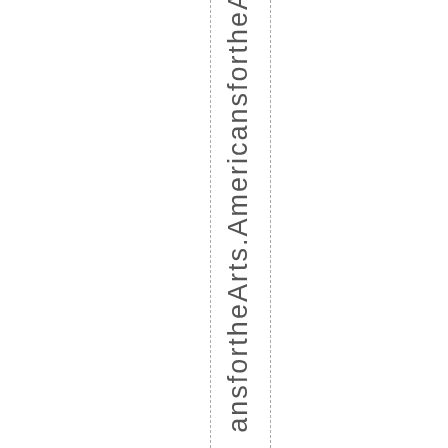s for the Arts. Americans for the A